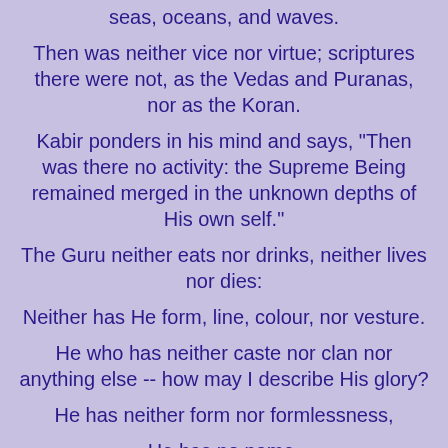seas, oceans, and waves.
Then was neither vice nor virtue; scriptures there were not, as the Vedas and Puranas, nor as the Koran.
Kabir ponders in his mind and says, "Then was there no activity: the Supreme Being remained merged in the unknown depths of His own self."
The Guru neither eats nor drinks, neither lives nor dies:
Neither has He form, line, colour, nor vesture.
He who has neither caste nor clan nor anything else -- how may I describe His glory?
He has neither form nor formlessness,
He has no name,